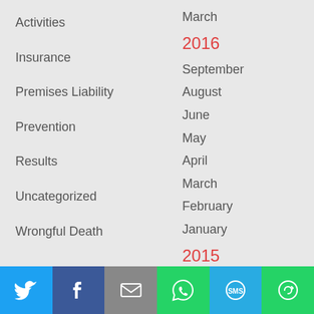Activities
Insurance
Premises Liability
Prevention
Results
Uncategorized
Wrongful Death
March
2016
September
August
June
May
April
March
February
January
2015
December
November
October
September
Social share bar: Twitter, Facebook, Email, WhatsApp, SMS, Share